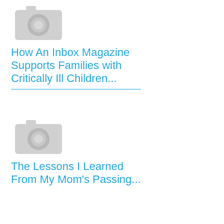[Figure (photo): Camera placeholder icon, grey, top article]
How An Inbox Magazine Supports Families with Critically Ill Children...
[Figure (photo): Camera placeholder icon, grey, bottom article]
The Lessons I Learned From My Mom's Passing...